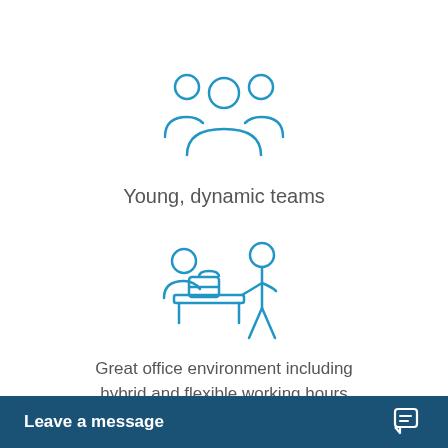[Figure (illustration): Blue outline icon of a group of people (team), centered near top of page]
Young, dynamic teams
[Figure (illustration): Blue outline icon of two people at a desk/office environment with a briefcase]
Great office environment including hybrid and flexible working hours
[Figure (illustration): Blue outline icon of money/banknotes, partially visible at bottom]
Leave a message